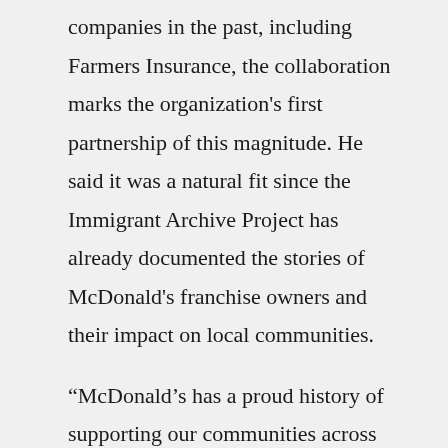companies in the past, including Farmers Insurance, the collaboration marks the organization's first partnership of this magnitude. He said it was a natural fit since the Immigrant Archive Project has already documented the stories of McDonald's franchise owners and their impact on local communities.
“McDonald’s has a proud history of supporting our communities across the country and around the world,” McDonald’s head of cultural engagement and experiences, U.S. marketing Lizette Williams told Adweek. She pointed to